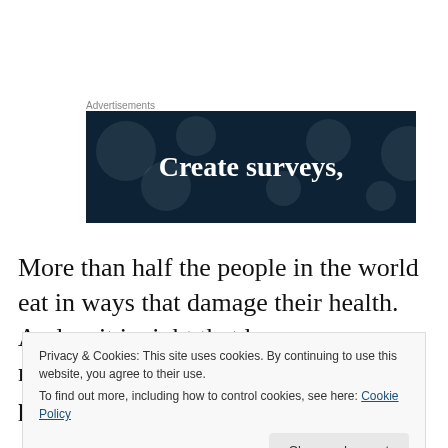Advertisements
[Figure (illustration): Dark navy advertisement banner with decorative dots and white bold text reading 'Create surveys,']
More than half the people in the world eat in ways that damage their health. And so it is right that hunger, malnutrition – due to deficiencies in proteins, minerals and
Privacy & Cookies: This site uses cookies. By continuing to use this website, you agree to their use.
To find out more, including how to control cookies, see here: Cookie Policy
Close and accept